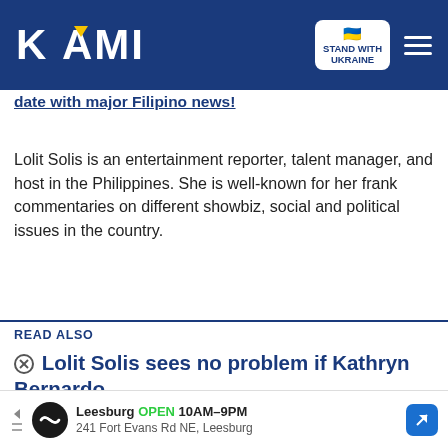KAMI — Stand With Ukraine
date with major Filipino news!
Lolit Solis is an entertainment reporter, talent manager, and host in the Philippines. She is well-known for her frank commentaries on different showbiz, social and political issues in the country.
READ ALSO
Lolit Solis sees no problem if Kathryn Bernardo, [Daniel Padilla] [get] married
[Figure (screenshot): Video overlay showing two people, with Google Notified Demi Of His Cheating label, play button, and down-arrow button]
is about Heaven Peralejo. Lolit 100,000 from Senator Manny
[Figure (other): Advertisement bar: Leesburg OPEN 10AM-9PM, 241 Fort Evans Rd NE, Leesburg]